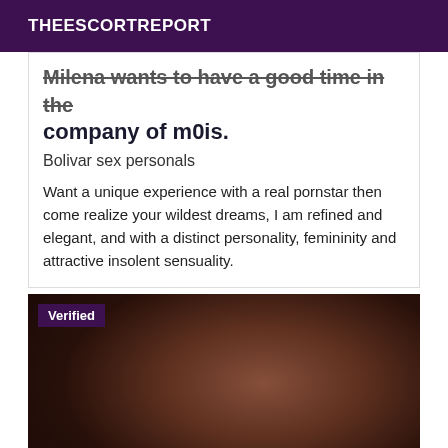THEESCORTREPORT
Milena wants to have a good time in the company of m0is.
Bolivar sex personals
Want a unique experience with a real pornstar then come realize your wildest dreams, I am refined and elegant, and with a distinct personality, femininity and attractive insolent sensuality.
[Figure (photo): Dark photo with verified badge overlay in top left corner]